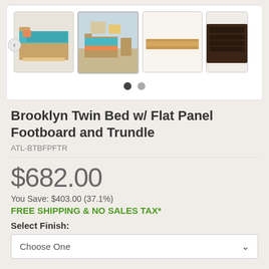[Figure (photo): Product image carousel showing Brooklyn Twin Bed with Flat Panel Footboard and Trundle in four thumbnail views: bed with orange/teal bedding, room scene, bare slats view, and dark finish headboard]
Brooklyn Twin Bed w/ Flat Panel Footboard and Trundle
ATL-BTBFPFTR
$682.00
You Save: $403.00 (37.1%)
FREE SHIPPING & NO SALES TAX*
Select Finish:
Choose One